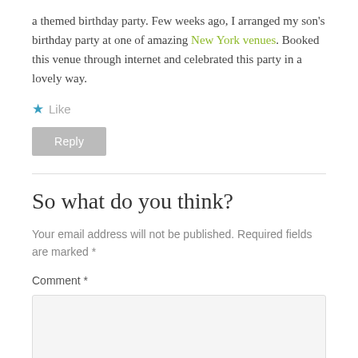a themed birthday party. Few weeks ago, I arranged my son's birthday party at one of amazing New York venues. Booked this venue through internet and celebrated this party in a lovely way.
★ Like
Reply
So what do you think?
Your email address will not be published. Required fields are marked *
Comment *